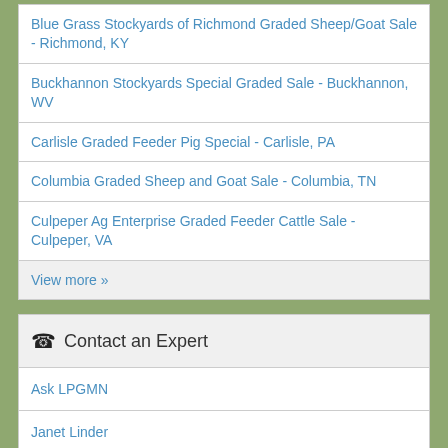Blue Grass Stockyards of Richmond Graded Sheep/Goat Sale - Richmond, KY
Buckhannon Stockyards Special Graded Sale - Buckhannon, WV
Carlisle Graded Feeder Pig Special - Carlisle, PA
Columbia Graded Sheep and Goat Sale - Columbia, TN
Culpeper Ag Enterprise Graded Feeder Cattle Sale - Culpeper, VA
View more »
☎ Contact an Expert
Ask LPGMN
Janet Linder